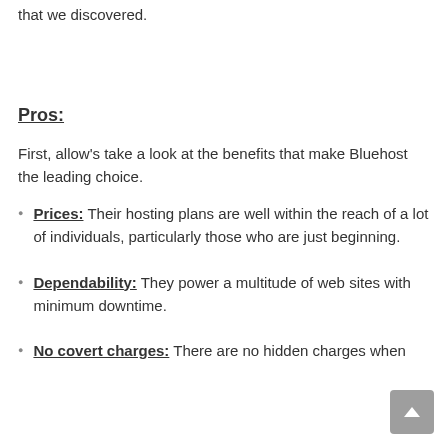that we discovered.
Pros:
First, allow's take a look at the benefits that make Bluehost the leading choice.
Prices: Their hosting plans are well within the reach of a lot of individuals, particularly those who are just beginning.
Dependability: They power a multitude of web sites with minimum downtime.
No covert charges: There are no hidden charges when